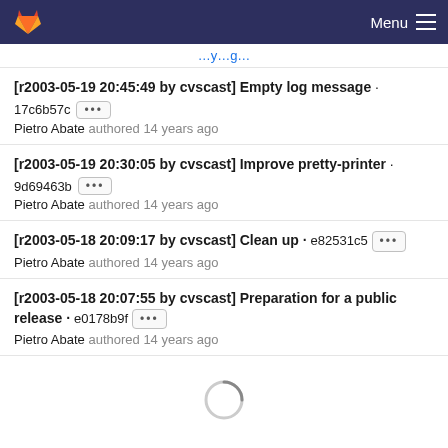GitLab — Menu
...y...g...
[r2003-05-19 20:45:49 by cvscast] Empty log message · 17c6b57c [...] Pietro Abate authored 14 years ago
[r2003-05-19 20:30:05 by cvscast] Improve pretty-printer · 9d69463b [...] Pietro Abate authored 14 years ago
[r2003-05-18 20:09:17 by cvscast] Clean up · e82531c5 [...] Pietro Abate authored 14 years ago
[r2003-05-18 20:07:55 by cvscast] Preparation for a public release · e0178b9f [...] Pietro Abate authored 14 years ago
[Figure (other): Loading spinner circle]